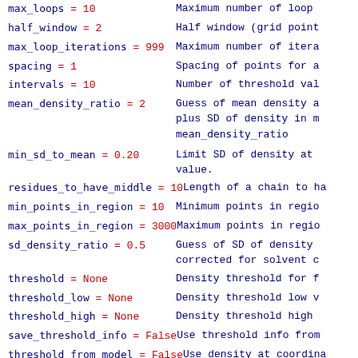max_loops = 10    Maximum number of loops
half_window = 2    Half window (grid point
max_loop_iterations = 999    Maximum number of itera
spacing = 1    Spacing of points for a
intervals = 10    Number of threshold val
mean_density_ratio = 2    Guess of mean density a plus SD of density in m mean_density_ratio
min_sd_to_mean = 0.20    Limit SD of density at value.
residues_to_have_middle = 10    Length of a chain to ha
min_points_in_region = 10    Minimum points in regio
max_points_in_region = 3000    Maximum points in regio
sd_density_ratio = 0.5    Guess of SD of density corrected for solvent c
threshold = None    Density threshold for f
threshold_low = None    Density threshold low v
threshold_high = None    Density threshold high
save_threshold_info = False    Use threshold info from
threshold_from_model = False    Use density at coordina
test_threshold = False    Test thresholds when ma connect